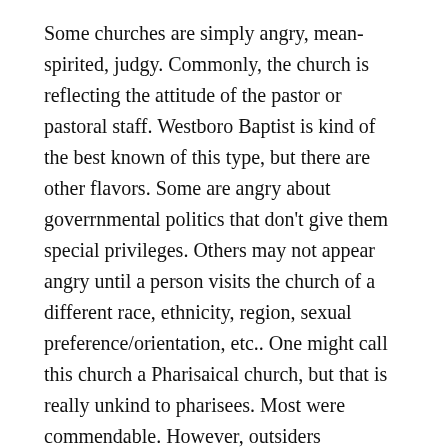Some churches are simply angry, mean-spirited, judgy. Commonly, the church is reflecting the attitude of the pastor or pastoral staff. Westboro Baptist is kind of the best known of this type, but there are other flavors. Some are angry about goverrnmental politics that don't give them special privileges. Others may not appear angry until a person visits the church of a different race, ethnicity, region, sexual preference/orientation, etc.. One might call this church a Pharisaical church, but that is really unkind to pharisees. Most were commendable. However, outsiders remember Pharisees much the way they think of churches— that is, in terms of the most angry and judgmental.
A church should be a diverse community… a family. It